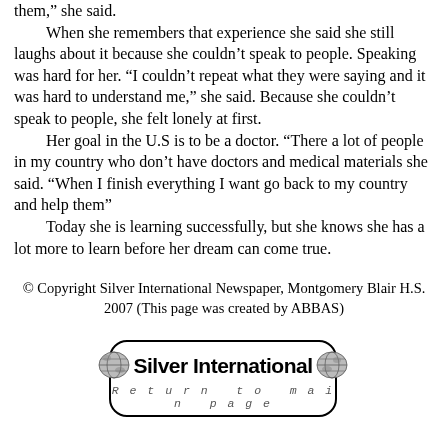them,” she said.

When she remembers that experience she said she still laughs about it because she couldn’t speak to people. Speaking was hard for her. “I couldn’t repeat what they were saying and it was hard to understand me,” she said. Because she couldn’t speak to people, she felt lonely at first.

Her goal in the U.S is to be a doctor. “There a lot of people in my country who don’t have doctors and medical materials she said. “When I finish everything I want go back to my country and help them”

Today she is learning successfully, but she knows she has a lot more to learn before her dream can come true.
© Copyright Silver International Newspaper, Montgomery Blair H.S. 2007 (This page was created by ABBAS)
[Figure (logo): Silver International newspaper logo with globe graphics and 'Return to main page' text]